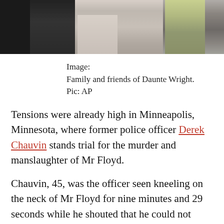[Figure (photo): Cropped photo showing family and friends of Daunte Wright, partially visible from waist down]
Image:
Family and friends of Daunte Wright.
Pic: AP
Tensions were already high in Minneapolis, Minnesota, where former police officer Derek Chauvin stands trial for the murder and manslaughter of Mr Floyd.
Chauvin, 45, was the officer seen kneeling on the neck of Mr Floyd for nine minutes and 29 seconds while he shouted that he could not breathe in May 2020.
More from Black Lives Matter